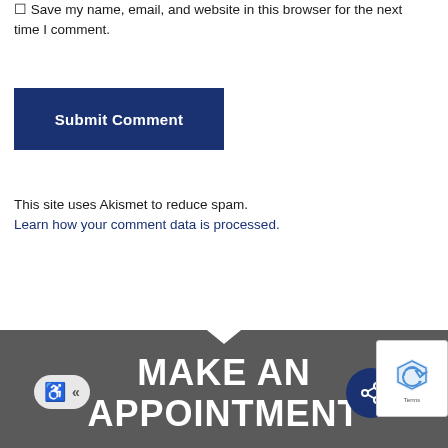Save my name, email, and website in this browser for the next time I comment.
Submit Comment
This site uses Akismet to reduce spam. Learn how your comment data is processed.
MAKE AN APPOINTMENT